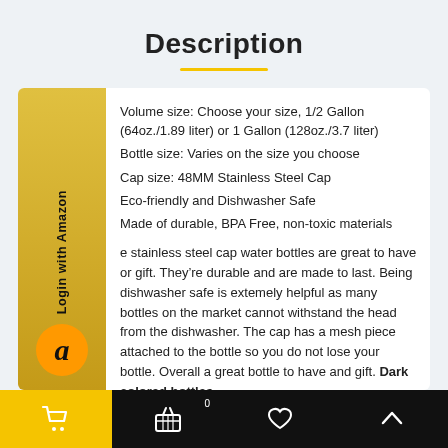Description
Volume size: Choose your size, 1/2 Gallon (64oz./1.89 liter) or 1 Gallon (128oz./3.7 liter)
Bottle size: Varies on the size you choose
Cap size: 48MM Stainless Steel Cap
Eco-friendly and Dishwasher Safe
Made of durable, BPA Free, non-toxic materials
e stainless steel cap water bottles are great to have or gift. They’re durable and are made to last. Being dishwasher safe is extemely helpful as many bottles on the market cannot withstand the head from the dishwasher. The cap has a mesh piece attached to the bottle so you do not lose your bottle. Overall a great bottle to have and gift. Dark colored bottles
Navigation bar with cart, basket (0), heart, up arrow icons